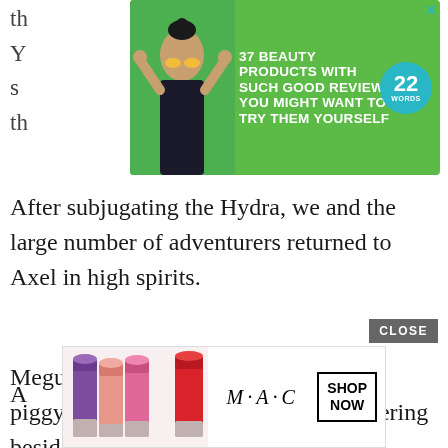[Figure (illustration): Green advertisement banner for '37 Beauty Products With Such Good Reviews You Might Want To Try Them Yourself' with a woman's photo and '22 Words' badge, plus a close X button]
After subjugating the Hydra, we and the large number of adventurers returned to Axel in high spirits.
Megumin forcefully named Yunyun to piggyback her, and they had been bickering besides me all this while.
Even though the opponent was a large bounty monster, the only casualty was one pe
[Figure (illustration): MAC cosmetics advertisement banner showing lipsticks and 'SHOP NOW' button with CLOSE button overlay]